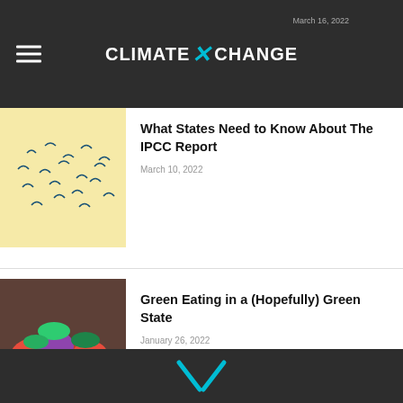CLIMATE X CHANGE — March 16, 2022
What States Need to Know About The IPCC Report
March 10, 2022
Green Eating in a (Hopefully) Green State
January 26, 2022